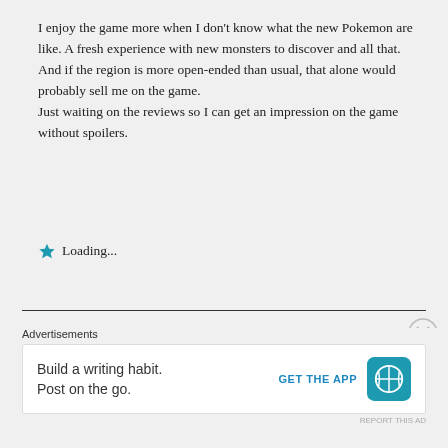I enjoy the game more when I don't know what the new Pokemon are like. A fresh experience with new monsters to discover and all that.
And if the region is more open-ended than usual, that alone would probably sell me on the game.
Just waiting on the reviews so I can get an impression on the game without spoilers.
Loading...
Advertisements
Build a writing habit. Post on the go.
GET THE APP
REPORT THIS AD